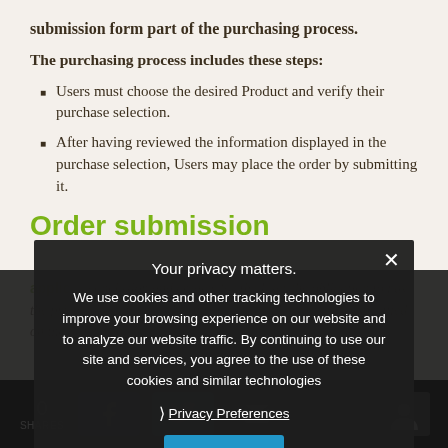submission form part of the purchasing process.
The purchasing process includes these steps:
Users must choose the desired Product and verify their purchase selection.
After having reviewed the information displayed in the purchase selection, Users may place the order by submitting it.
Order submission
Your privacy matters.
We use cookies and other tracking technologies to improve your browsing experience on our website and to analyze our website traffic. By continuing to use our site and services, you agree to the use of these cookies and similar technologies
Privacy Preferences
I Agree